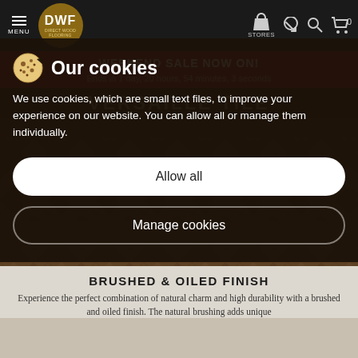DWF Direct Wood Flooring — MENU | STORES | 0
WEEKEND SALE NOW ON!
Ends in 1 day, 20 hours, 54 minutes, 3 seconds
VERSAILLE TILE
Our cookies
We use cookies, which are small text files, to improve your experience on our website. You can allow all or manage them individually.
Allow all
Manage cookies
[Figure (photo): Versaille tile wood flooring pattern in herringbone/tile arrangement]
BRUSHED & OILED FINISH
Experience the perfect combination of natural charm and high durability with a brushed and oiled finish. The natural brushing adds unique